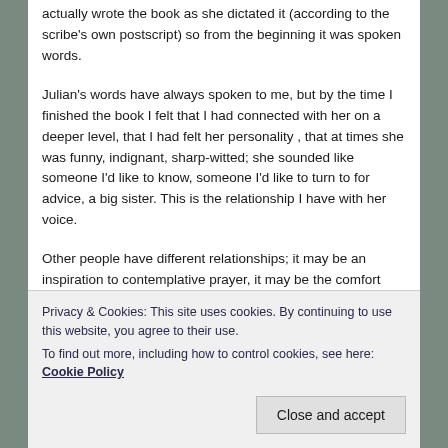actually wrote the book as she dictated it (according to the scribe's own postscript) so from the beginning it was spoken words.
Julian's words have always spoken to me, but by the time I finished the book I felt that I had connected with her on a deeper level, that I had felt her personality , that at times she was funny, indignant, sharp-witted; she sounded like someone I'd like to know, someone I'd like to turn to for advice, a big sister. This is the relationship I have with her voice.
Other people have different relationships; it may be an inspiration to contemplative prayer, it may be the comfort
Privacy & Cookies: This site uses cookies. By continuing to use this website, you agree to their use.
To find out more, including how to control cookies, see here: Cookie Policy